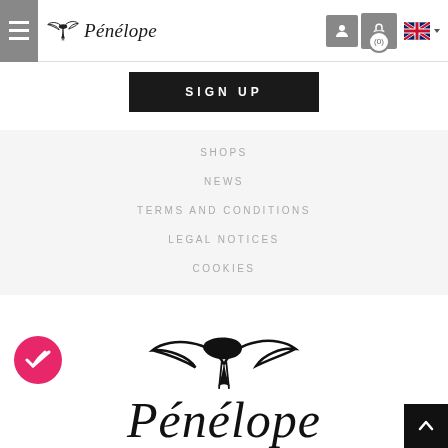Pénélope — navigation header with hamburger menu, brand logo, user/cart icons, UK flag language selector
SIGN UP
SHOPS
NEWS
TERMS AND CONDITIONS
LEGAL NOTICES
COOKIES
[Figure (logo): Pénélope brand logo — stylized bird/knot graphic above italic serif text 'Pénélope', large size, bottom section of page]